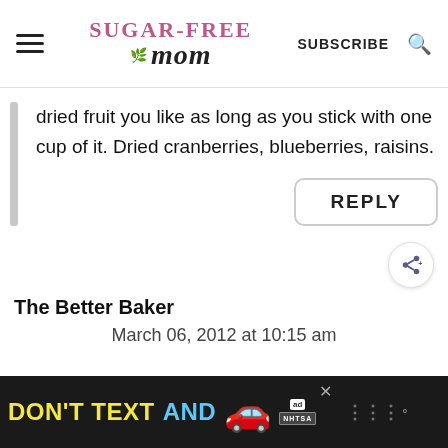Sugar-Free Mom — SUBSCRIBE
dried fruit you like as long as you stick with one cup of it. Dried cranberries, blueberries, raisins.
REPLY
The Better Baker
March 06, 2012 at 10:15 am
[Figure (other): Advertisement banner: DON'T TEXT AND [car emoji] with ad badge and NHTSA logo on black background]
DON'T TEXT AND [car] NHTSA